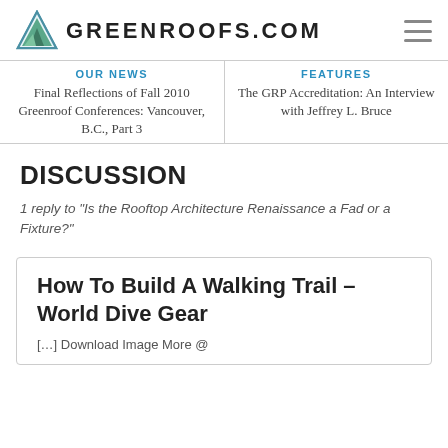GREENROOFS.COM
OUR NEWS
Final Reflections of Fall 2010 Greenroof Conferences: Vancouver, B.C., Part 3
FEATURES
The GRP Accreditation: An Interview with Jeffrey L. Bruce
DISCUSSION
1 reply to "Is the Rooftop Architecture Renaissance a Fad or a Fixture?"
How To Build A Walking Trail – World Dive Gear
[…] Download Image More @